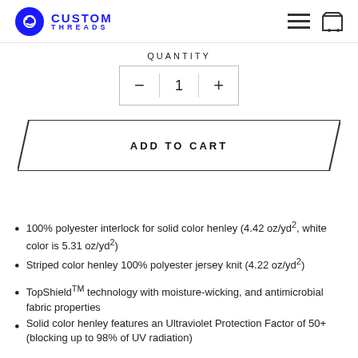Custom Threads
QUANTITY
- 1 +
ADD TO CART
100% polyester interlock for solid color henley (4.42 oz/yd², white color is 5.31 oz/yd²)
Striped color henley 100% polyester jersey knit (4.22 oz/yd²)
TopShield™ technology with moisture-wicking, and antimicrobial fabric properties
Solid color henley features an Ultraviolet Protection Factor of 50+ (blocking up to 98% of UV radiation)